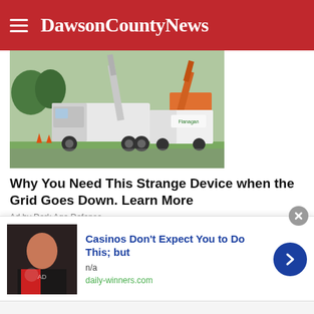DawsonCountyNews
[Figure (photo): Utility trucks and boom cranes parked on a street near a building, orange equipment visible]
Why You Need This Strange Device when the Grid Goes Down. Learn More
Ad by Dark Age Defense
[Figure (photo): Close-up of a woman with dark hair applying something near her eye/nose area]
[Figure (screenshot): Bottom ad bar: Casinos Don't Expect You to Do This; but | n/a | daily-winners.com]
Casinos Don't Expect You to Do This; but
n/a
daily-winners.com